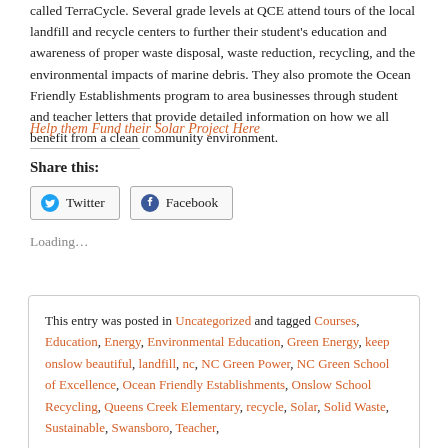called TerraCycle. Several grade levels at QCE attend tours of the local landfill and recycle centers to further their student's education and awareness of proper waste disposal, waste reduction, recycling, and the environmental impacts of marine debris. They also promote the Ocean Friendly Establishments program to area businesses through student and teacher letters that provide detailed information on how we all benefit from a clean community environment.
Help them Fund their Solar Project Here
Share this:
Twitter | Facebook
Loading...
This entry was posted in Uncategorized and tagged Courses, Education, Energy, Environmental Education, Green Energy, keep onslow beautiful, landfill, nc, NC Green Power, NC Green School of Excellence, Ocean Friendly Establishments, Onslow School Recycling, Queens Creek Elementary, recycle, Solar, Solid Waste, Sustainable, Swansboro, Teacher,